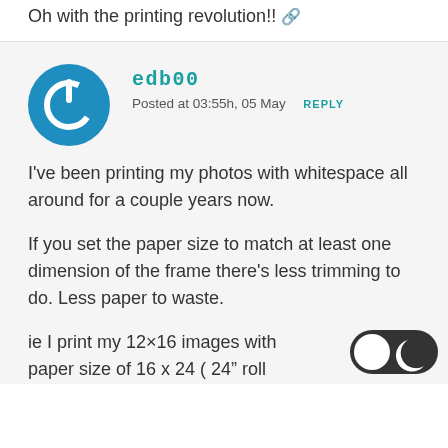Oh with the printing revolution!! 🔗
edb00
Posted at 03:55h, 05 May  REPLY
I've been printing my photos with whitespace all around for a couple years now.
If you set the paper size to match at least one dimension of the frame there's less trimming to do. Less paper to waste.
ie I print my 12×16 images with a paper size of 16 x 24 ( 24" roll
[Figure (illustration): Dark mode toggle switch UI element, showing a white circle on the left and a dark crescent moon icon on the right, in a rounded pill shape with dark background.]